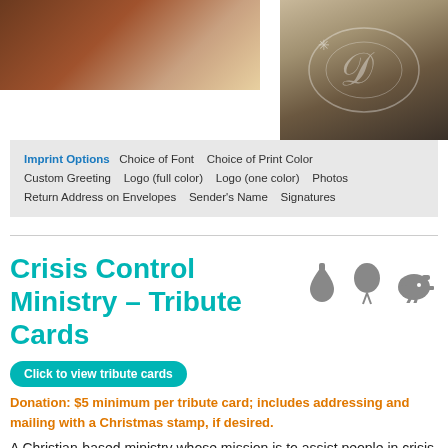[Figure (photo): Brown and tan photo strip on the left side at top]
[Figure (photo): Photo of people on the right side at top with decorative cursive overlay]
Imprint Options  Choice of Font  Choice of Print Color  Custom Greeting  Logo (full color)  Logo (one color)  Photos  Return Address on Envelopes  Sender's Name  Signatures
Crisis Control Ministry – Tribute Cards
Click to view tribute cards
Donation: $5 minimum per tribute card; includes addressing and mailing with a Christmas stamp, if desired.
A Christian-based ministry whose mission is to assist people in crisis to meet essential life needs – including housing, utilities, food, and prescription